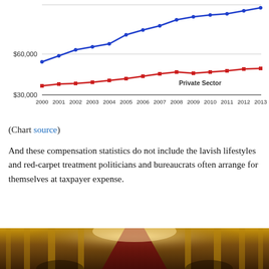[Figure (line-chart): ]
(Chart source)
And these compensation statistics do not include the lavish lifestyles and red-carpet treatment politicians and bureaucrats often arrange for themselves at taxpayer expense.
[Figure (photo): Interior of an ornate, cathedral-like hall with red carpet aisle, gold columns, chandeliers, and elaborate decorations suggesting lavish government spending.]